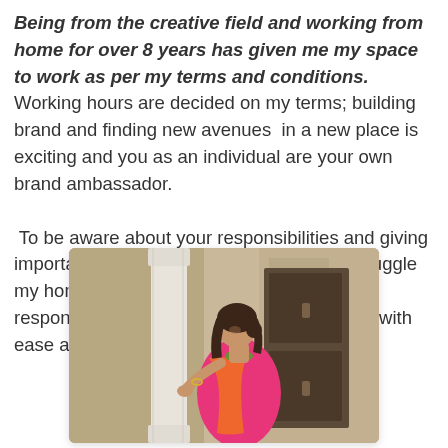Being from the creative field and working from home for over 8 years has given me my space to work as per my terms and conditions. Working hours are decided on my terms; building brand and finding new avenues in a new place is exciting and you as an individual are your own brand ambassador.

To be aware about your responsibilities and giving importance to your passion has helped me juggle my home front, work and various other responsibilities that comes being a fauji wife with ease and satisfaction.
[Figure (photo): A woman in a pink and orange saree with green jewellery, leaning against a white pillar in front of an old wooden door and a weathered wall.]